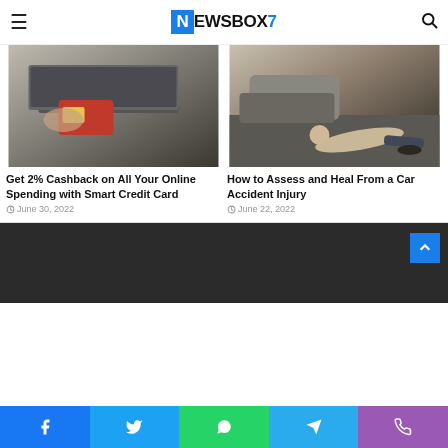NEWSBOX7
[Figure (photo): Person holding a red credit card near a laptop keyboard]
Get 2% Cashback on All Your Online Spending with Smart Credit Card
June 30, 2022
[Figure (photo): Person lying on road after a car accident]
How to Assess and Heal From a Car Accident Injury
June 22, 2022